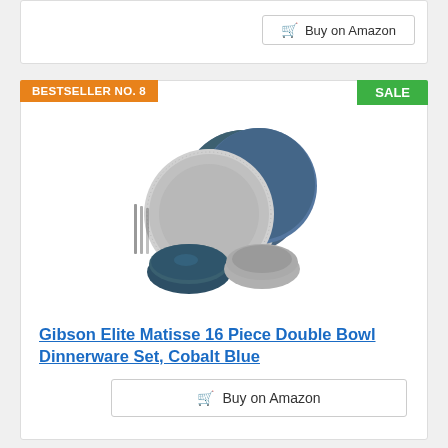Buy on Amazon
BESTSELLER NO. 8
SALE
[Figure (photo): Gibson Elite Matisse 16 Piece Double Bowl Dinnerware Set in Cobalt Blue — stacked plates and bowls with dark blue glaze and speckled texture pattern]
Gibson Elite Matisse 16 Piece Double Bowl Dinnerware Set, Cobalt Blue
$65.05 Prime
Buy on Amazon